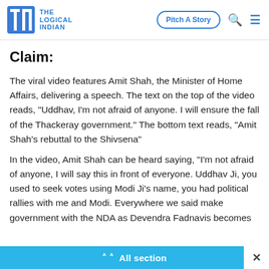THE LOGICAL INDIAN | Pitch A Story
Claim:
The viral video features Amit Shah, the Minister of Home Affairs, delivering a speech. The text on the top of the video reads, "Uddhav, I'm not afraid of anyone. I will ensure the fall of the Thackeray government." The bottom text reads, "Amit Shah's rebuttal to the Shivsena"
In the video, Amit Shah can be heard saying, "I'm not afraid of anyone, I will say this in front of everyone. Uddhav Ji, you used to seek votes using Modi Ji's name, you had political rallies with me and Modi. Everywhere we said make government with the NDA as Devendra Fadnavis becomes
All section